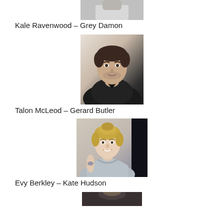[Figure (photo): Partial photo of Kale Ravenwood / Grey Damon (top portion only visible), grayscale headshot]
Kale Ravenwood – Grey Damon
[Figure (photo): Photo of Talon McLeod / Gerard Butler, man with dark hair and stubble wearing a black v-neck jacket]
Talon McLeod – Gerard Butler
[Figure (photo): Photo of Evy Berkley / Kate Hudson, blonde woman smiling wearing a grey off-shoulder knit sweater]
Evy Berkley – Kate Hudson
[Figure (photo): Partial photo at bottom of page, another character/actor (cut off)]